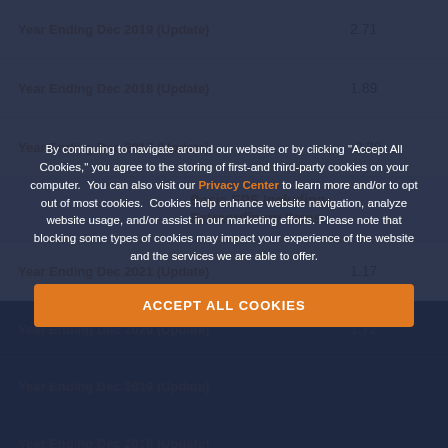| Period | Value |
| --- | --- |
| Year Ending Dec 2019 (Update) | 2.71 |
| Year Ending Dec 2018 (Update) | 1.89 |
| Year Ending Dec 2017 (Update) | -0.39 |
Basic EPS Including Extraordinary Items
| Period | Value |
| --- | --- |
| Year Ending Dec 2021 (Update) | 1.17 |
| Year Ending Dec 2020 (Update) | 1.72 |
| Year Ending Dec 2019 (Update) |  |
| Year Ending Dec 2018 (Update) |  |
| Year Ending Dec 2017 (Update) |  |
By continuing to navigate around our website or by clicking “Accept All Cookies,” you agree to the storing of first-and third-party cookies on your computer. You can also visit our Privacy Center to learn more and/or to opt out of most cookies. Cookies help enhance website navigation, analyze website usage, and/or assist in our marketing efforts. Please note that blocking some types of cookies may impact your experience of the website and the services we are able to offer.